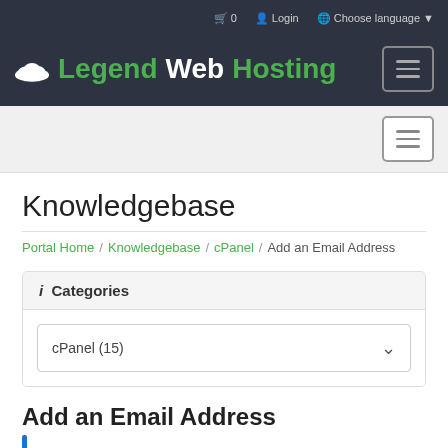🛒 0  Login  Choose language
[Figure (logo): LegendWebHosting logo with cloud icon and hamburger menu button on dark background]
[Figure (screenshot): Secondary navigation bar with hamburger menu button]
Knowledgebase
Portal Home / Knowledgebase / cPanel / Add an Email Address
i Categories
cPanel (15)
Add an Email Address